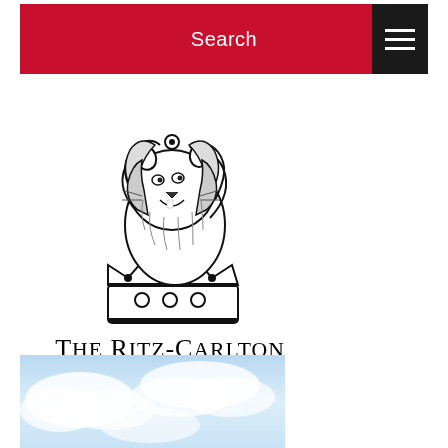Search
[Figure (logo): The Ritz-Carlton lion and crown logo with text 'THE RITZ-CARLTON']
[Figure (photo): Sky and clouds photo background, light blue tones]